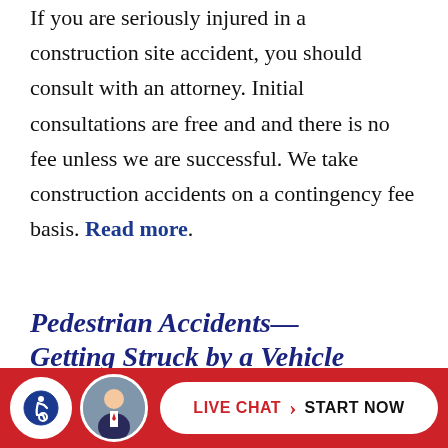If you are seriously injured in a construction site accident, you should consult with an attorney. Initial consultations are free and and there is no fee unless we are successful. We take construction accidents on a contingency fee basis. Read more.
Pedestrian Accidents—Getting Struck by a Vehicle
Pedestrian accidents are prevalent in New York City. As you would imagine, there is often a lot of f... traffic...